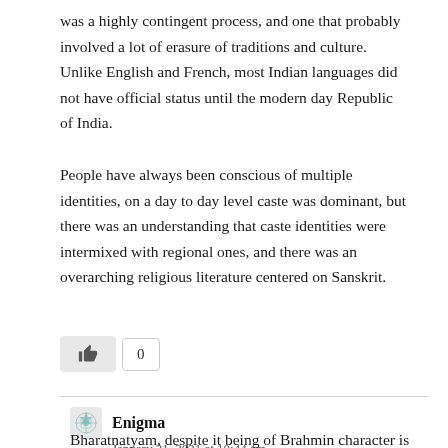was a highly contingent process, and one that probably involved a lot of erasure of traditions and culture. Unlike English and French, most Indian languages did not have official status until the modern day Republic of India.
People have always been conscious of multiple identities, on a day to day level caste was dominant, but there was an understanding that caste identities were intermixed with regional ones, and there was an overarching religious literature centered on Sanskrit.
[Figure (other): A like/thumbs-up button with a count box showing 0]
Enigma
January 31, 2021 at 10:44 am
Bharatnatyam, despite it being of Brahmin character is